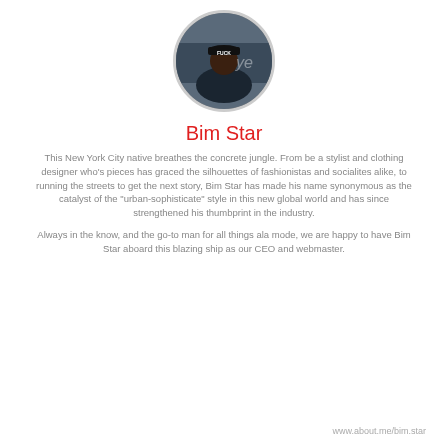[Figure (photo): Circular profile photo of Bim Star wearing a cap with 'FUCK' text, in front of a backdrop]
Bim Star
This New York City native breathes the concrete jungle. From be a stylist and clothing designer who's pieces has graced the silhouettes of fashionistas and socialites alike, to running the streets to get the next story, Bim Star has made his name synonymous as the catalyst of the "urban-sophisticate" style in this new global world and has since strengthened his thumbprint in the industry.
Always in the know, and the go-to man for all things ala mode, we are happy to have Bim Star aboard this blazing ship as our CEO and webmaster.
www.about.me/bim.star